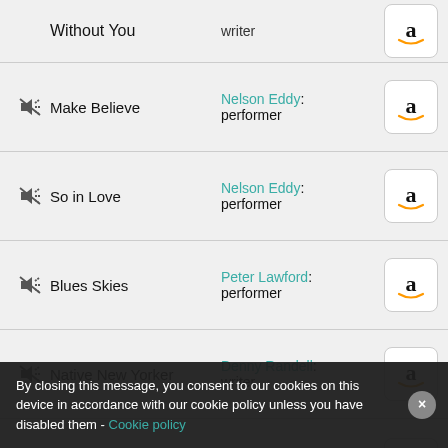|  | Track | Artist/Role | Buy |
| --- | --- | --- | --- |
| 🔇 | Without You | writer | Amazon |
| 🔇 | Make Believe | Nelson Eddy: performer | Amazon |
| 🔇 | So in Love | Nelson Eddy: performer | Amazon |
| 🔇 | Blues Skies | Peter Lawford: performer | Amazon |
| 🔇 | Native New Yorker | Denny Randell: writer | Amazon |
| 🔇 | Go On with Your Dancing | Jack Rhodes: writer | Amazon |
| 🔇 | Pieces of Dreams | John McCook: performer | Amazon |
| 🔇 | I Won't Last a Day Without You | Hank Williams: performer | Amazon |
| 🔇 | Make Believe | Gala Sherwood: | Amazon |
By closing this message, you consent to our cookies on this device in accordance with our cookie policy unless you have disabled them - Cookie policy